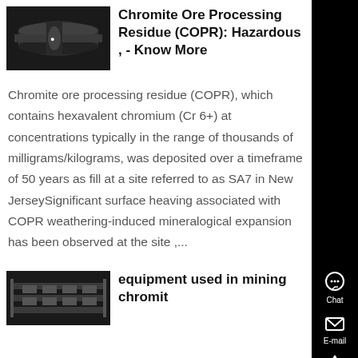Chromite Ore Processing Residue (COPR): Hazardous , - Know More
Chromite ore processing residue (COPR), which contains hexavalent chromium (Cr 6+) at concentrations typically in the range of thousands of milligrams/kilograms, was deposited over a timeframe of 50 years as fill at a site referred to as SA7 in New JerseySignificant surface heaving associated with COPR weathering-induced mineralogical expansion has been observed at the site ,...
equipment used in mining chromit